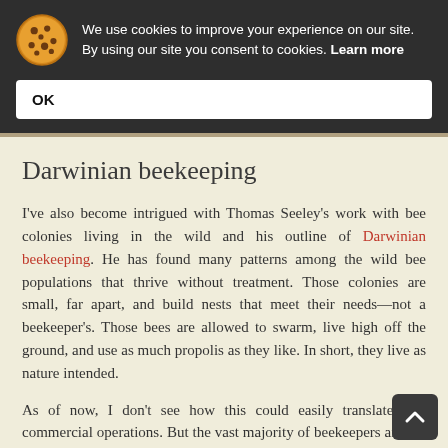We use cookies to improve your experience on our site. By using our site you consent to cookies. Learn more
OK
Darwinian beekeeping
I've also become intrigued with Thomas Seeley's work with bee colonies living in the wild and his outline of Darwinian beekeeping. He has found many patterns among the wild bee populations that thrive without treatment. Those colonies are small, far apart, and build nests that meet their needs—not a beekeeper's. Those bees are allowed to swarm, live high off the ground, and use as much propolis as they like. In short, they live as nature intended.
As of now, I don't see how this could easily translate into commercial operations. But the vast majority of beekeepers are not commercial. Most are hobbyists wh